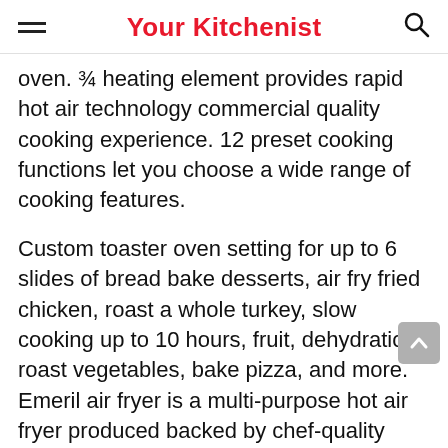Your Kitchenist
oven. ¾ heating element provides rapid hot air technology commercial quality cooking experience. 12 preset cooking functions let you choose a wide range of cooking features.
Custom toaster oven setting for up to 6 slides of bread bake desserts, air fry fried chicken, roast a whole turkey, slow cooking up to 10 hours, fruit, dehydration, roast vegetables, bake pizza, and more. Emeril air fryer is a multi-purpose hot air fryer produced backed by chef-quality design, construction, and support to ensure high-quality delicious food. Emeril Lagasse pressure air fryer duet